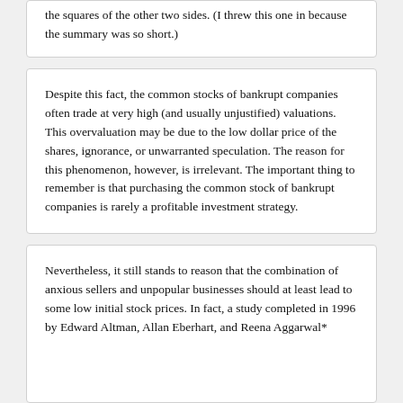the squares of the other two sides. (I threw this one in because the summary was so short.)
Despite this fact, the common stocks of bankrupt companies often trade at very high (and usually unjustified) valuations. This overvaluation may be due to the low dollar price of the shares, ignorance, or unwarranted speculation. The reason for this phenomenon, however, is irrelevant. The important thing to remember is that purchasing the common stock of bankrupt companies is rarely a profitable investment strategy.
Nevertheless, it still stands to reason that the combination of anxious sellers and unpopular businesses should at least lead to some low initial stock prices. In fact, a study completed in 1996 by Edward Altman, Allan Eberhart, and Reena Aggarwal*